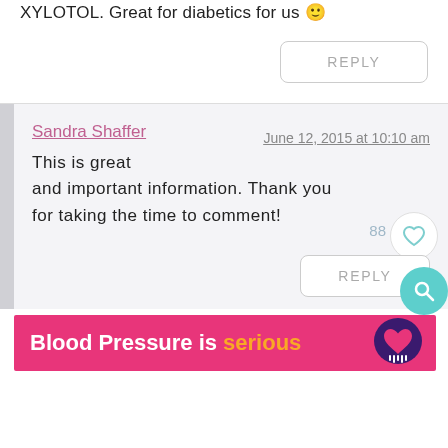XYLOTOL. Great for diabetics for us 🙂
REPLY
Sandra Shaffer
June 12, 2015 at 10:10 am
This is great and important information. Thank you for taking the time to comment!
REPLY
[Figure (infographic): Blood Pressure is serious ad banner with heart logo]